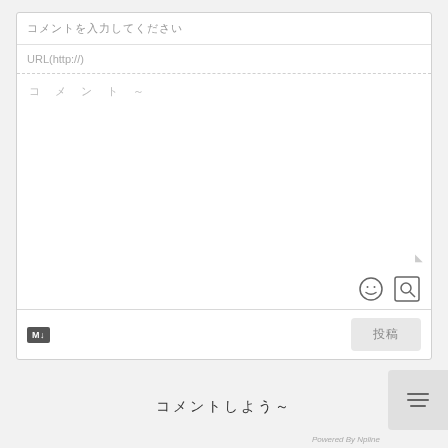コメントを入力してください
URL(http://)
コ メ ン ト ～
M↓
投稿
コメントしよう～
Powered By Npline